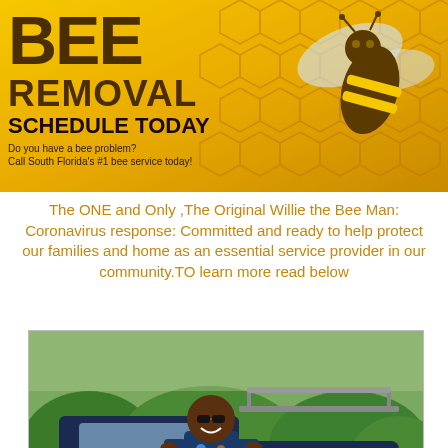[Figure (photo): Bee removal advertisement banner with yellow/gold honeycomb background and a large bee image on the right. Text reads BEE REMOVAL SCHEDULE TODAY with subtext about South Florida bee service.]
The ONE and Only ,The Original Willie the Bee Man: Coronavirus response: Committed and ready to help protect our families and home as an essential service provider in our community.TO learn more read below
[Figure (photo): Photo of Willie the Bee Man, a man in blue uniform smiling and holding a Florida license plate reading BUZUS, standing in front of a dark blue and yellow Toyota pickup truck used for bee removal service.]